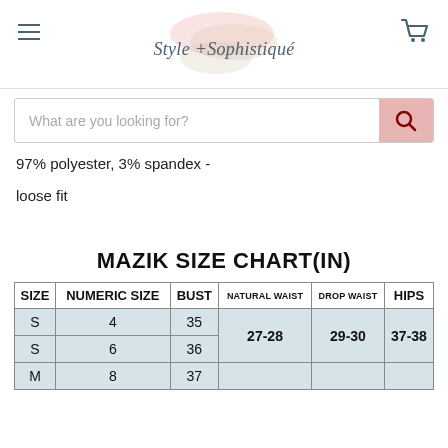Style + Sophistiqué
What are you looking for?
97% polyester, 3% spandex -
loose fit
MAZIK SIZE CHART(IN)
| SIZE | NUMERIC SIZE | BUST | NATURAL WAIST | DROP WAIST | HIPS |
| --- | --- | --- | --- | --- | --- |
| S | 4 | 35 | 27-28 | 29-30 | 37-38 |
| S | 6 | 36 | 27-28 | 29-30 | 37-38 |
| M | 8 | 37 |  |  |  |